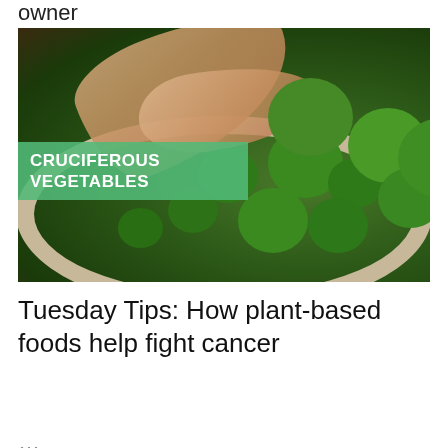owner
[Figure (photo): A hand reaching into a bowl of broccoli florets with a green banner overlay reading CRUCIFEROUS VEGETABLES]
Tuesday Tips: How plant-based foods help fight cancer
...